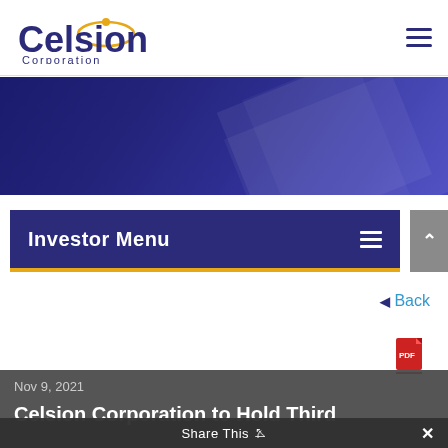[Figure (logo): Celsion Corporation logo — stylized text 'Celsion' in dark navy blue with an arc/orbit design element in gold, and 'Corporation' in smaller text below]
Investor Menu
◄ Back
[Figure (other): PDF icon — red PDF file icon]
Nov 9, 2021
Celsion Corporation to Hold Third
Share This